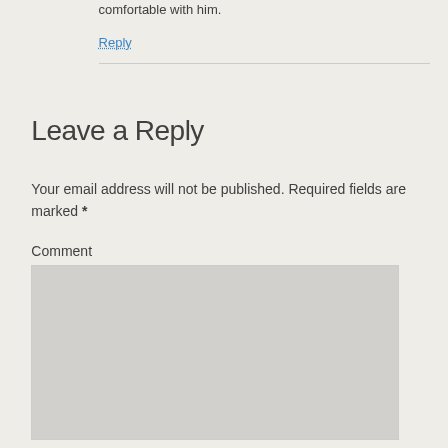comfortable with him.
Reply
Leave a Reply
Your email address will not be published. Required fields are marked *
Comment